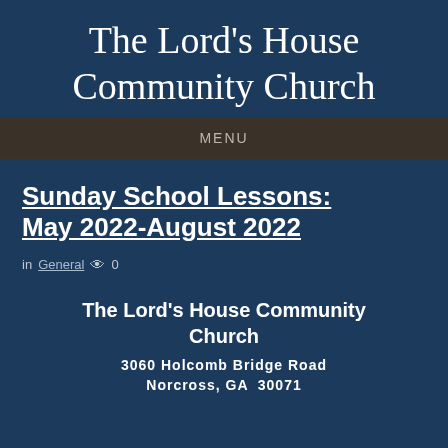The Lord's House Community Church
MENU
Sunday School Lessons: May 2022-August 2022
in General  👁 0
The Lord's House Community Church
3060 Holcomb Bridge Road
Norcross, GA  30071